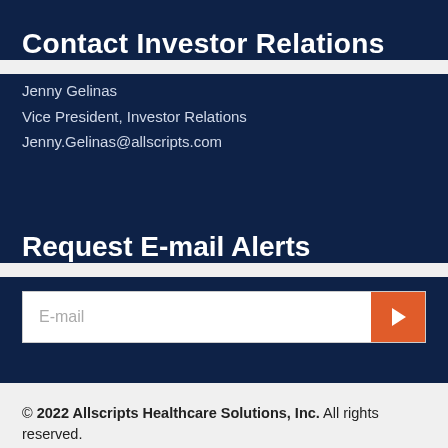Contact Investor Relations
Jenny Gelinas
Vice President, Investor Relations
Jenny.Gelinas@allscripts.com
Request E-mail Alerts
E-mail
© 2022 Allscripts Healthcare Solutions, Inc.  All rights reserved.